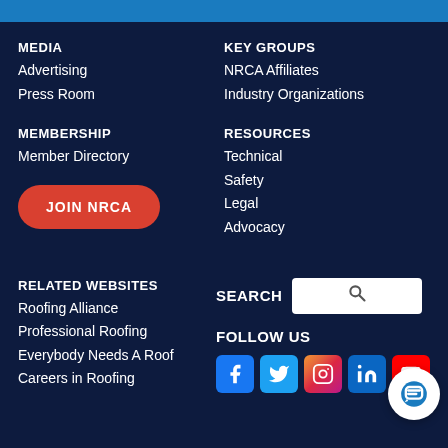MEDIA
Advertising
Press Room
KEY GROUPS
NRCA Affiliates
Industry Organizations
MEMBERSHIP
Member Directory
[Figure (other): Red rounded button with white bold text reading JOIN NRCA]
RESOURCES
Technical
Safety
Legal
Advocacy
RELATED WEBSITES
Roofing Alliance
Professional Roofing
Everybody Needs A Roof
Careers in Roofing
SEARCH
FOLLOW US
[Figure (other): Social media icons: Facebook, Twitter, Instagram, LinkedIn, YouTube]